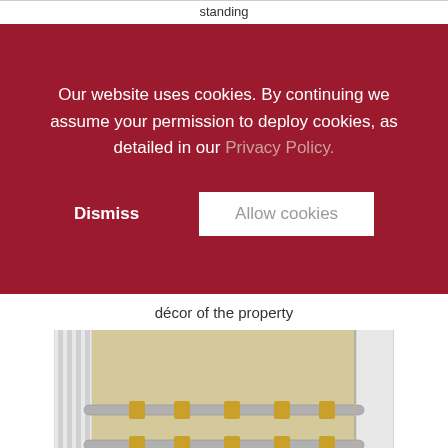standing
Our website uses cookies. By continuing we assume your permission to deploy cookies, as detailed in our Privacy Policy.
Dismiss
Allow cookies
décor of the property
[Figure (photo): 3D product illustration of a sliding panel wall system showing aluminum tracks on the left side and a beige/cream colored panel with chrome rail hardware mounted horizontally across it, set in a white frame]